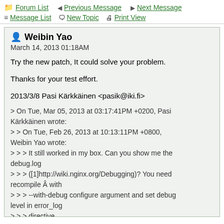Forum List  Previous Message  Next Message  Message List  New Topic  Print View
Weibin Yao
March 14, 2013 01:18AM

Try the new patch, It could solve your problem.

Thanks for your test effort.

2013/3/8 Pasi Kärkkäinen <pasik@iki.fi>

> On Tue, Mar 05, 2013 at 03:17:41PM +0200, Pasi Kärkkäinen wrote:
> > On Tue, Feb 26, 2013 at 10:13:11PM +0800, Weibin Yao wrote:
> > > It still worked in my box. Can you show me the debug.log
> > > ([1]http://wiki.nginx.org/Debugging)? You need recompile Â with
> > > --with-debug configure argument and set debug level in error_log
> > > directive